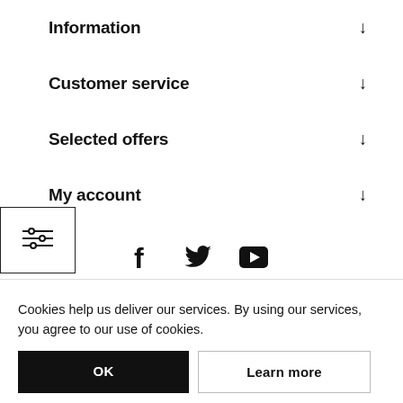Information
Customer service
Selected offers
My account
[Figure (other): Filter/sliders icon inside a rectangular box]
[Figure (other): Social media icons: Facebook, Twitter, YouTube]
Cookies help us deliver our services. By using our services, you agree to our use of cookies.
OK
Learn more